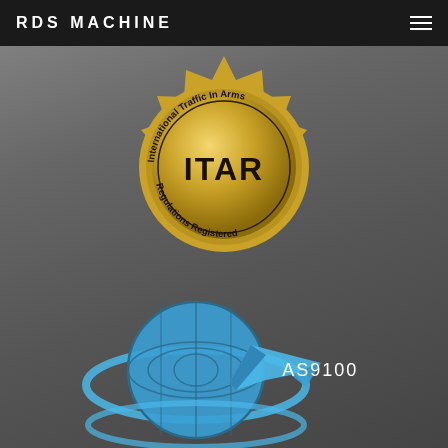RDS MACHINE
[Figure (logo): ITAR Registered badge - gold starburst seal with text 'International Traffic In Arms Regulations Registered' around the border and 'ITAR' in bold in the center circle]
[Figure (logo): AS9100 certification logo - blue globe with grid lines, blue orbital ring around it, and a blue jet/aircraft silhouette flying past]
AS9100